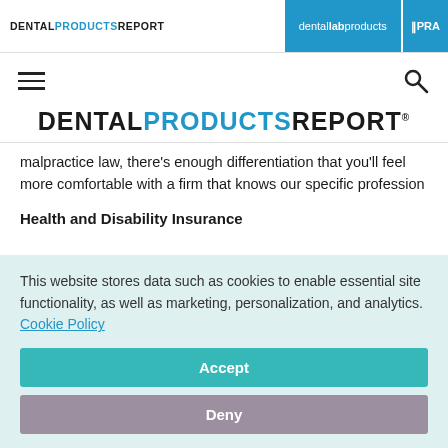DENTAL PRODUCTS REPORT | dental lab products | PRA
[Figure (logo): Dental Products Report logo with hamburger menu and search icon navigation row]
[Figure (logo): DENTAL PRODUCTS REPORT large centered logo]
malpractice law, there's enough differentiation that you'll feel more comfortable with a firm that knows our specific profession
Health and Disability Insurance
This website stores data such as cookies to enable essential site functionality, as well as marketing, personalization, and analytics. Cookie Policy
Accept
Deny